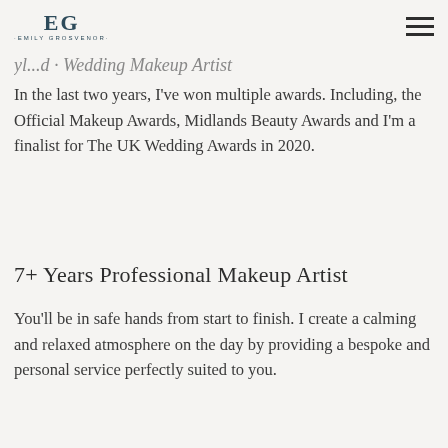EG · EMILY GROSVENOR
...yl...d - Wedding Makeup Artist
In the last two years, I've won multiple awards. Including, the Official Makeup Awards, Midlands Beauty Awards and I'm a finalist for The UK Wedding Awards in 2020.
7+ Years Professional Makeup Artist
You'll be in safe hands from start to finish. I create a calming and relaxed atmosphere on the day by providing a bespoke and personal service perfectly suited to you.